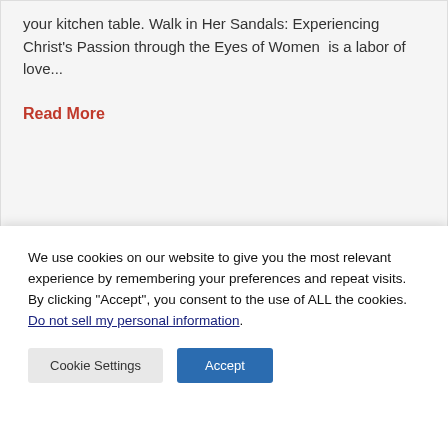your kitchen table. Walk in Her Sandals: Experiencing Christ's Passion through the Eyes of Women  is a labor of love...
Read More
We use cookies on our website to give you the most relevant experience by remembering your preferences and repeat visits. By clicking “Accept”, you consent to the use of ALL the cookies.
Do not sell my personal information.
Cookie Settings
Accept